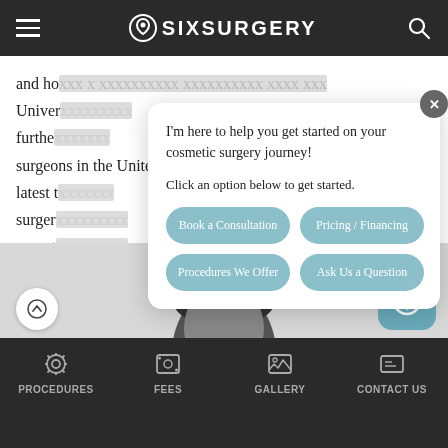SIXSURGERY
and ho... a candidate. xxxxxxxx with the
Univer... further...
surgeons in the United States and Europe on the
latest t...
surger...
expert...
interna...
[Figure (screenshot): Chatbot popup with greeting message and four option buttons: Book a Consultation, Pricing / Financing, Procedures We Offer, Ask Us a Question]
[Figure (photo): Black and white photo of a man's face/head, cropped at forehead]
PROCEDURES   FEES   GALLERY   CONTACT US